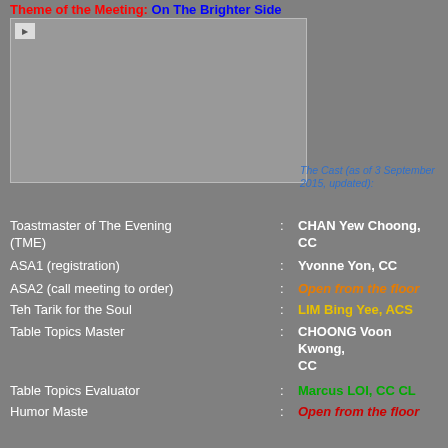Theme of the Meeting: On The Brighter Side
[Figure (photo): A photo placeholder image (broken image icon shown) with grey background]
The Cast (as of 3 September 2015, updated):
Toastmaster of The Evening (TME) : CHAN Yew Choong, CC
ASA1 (registration) : Yvonne Yon, CC
ASA2 (call meeting to order) : Open from the floor
Teh Tarik for the Soul : LIM Bing Yee, ACS
Table Topics Master : CHOONG Voon Kwong, CC
Table Topics Evaluator : Marcus LOI, CC CL
Humor Maste : Open from the floor